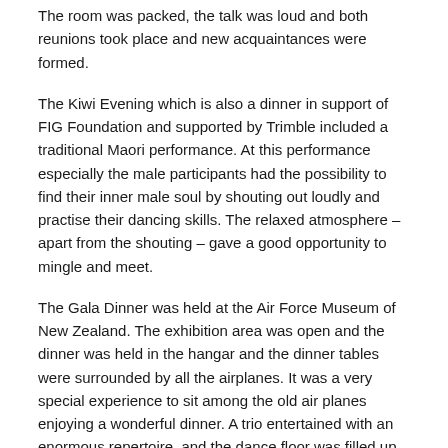The room was packed, the talk was loud and both reunions took place and new acquaintances were formed.
The Kiwi Evening which is also a dinner in support of FIG Foundation and supported by Trimble included a traditional Maori performance. At this performance especially the male participants had the possibility to find their inner male soul by shouting out loudly and practise their dancing skills. The relaxed atmosphere – apart from the shouting – gave a good opportunity to mingle and meet.
The Gala Dinner was held at the Air Force Museum of New Zealand. The exhibition area was open and the dinner was held in the hangar and the dinner tables were surrounded by all the airplanes. It was a very special experience to sit among the old air planes enjoying a wonderful dinner. A trio entertained with an enormous repertoire, and the dance floor was filled up to the very end.
For the foreign participants it was also possible to register for a home-hosting evening, where the hospitable New Zealanders opened their homes for a nice and intimate dinner. This turned out to be a fine evening for both the local...